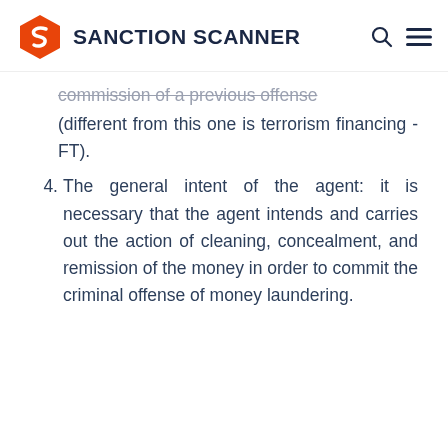SANCTION SCANNER
commission of a previous offense (different from this one is terrorism financing - FT).
4. The general intent of the agent: it is necessary that the agent intends and carries out the action of cleaning, concealment, and remission of the money in order to commit the criminal offense of money laundering.